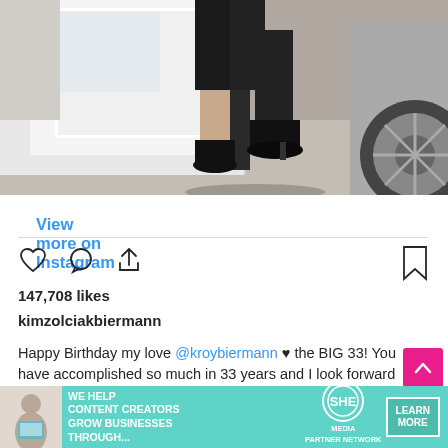[Figure (photo): Person exiting a white luxury car (Rolls-Royce), showing legs in black pants and black heeled shoes stepping onto pavement]
View more on Instagram
147,708 likes
kimzolciakbiermann
Happy Birthday my love @kroybiermann ♥ the BIG 33! You have accomplished so much in 33 years and I look forward to another million together. You truly amaze me DAILY Kroy! I have are no words to describe how much I love you! I feel it deep in my soul and to the core of my being. Thank you ..
[Figure (screenshot): SHE Partner Network advertisement banner: 'We help content creators grow businesses through...' with Learn More button]